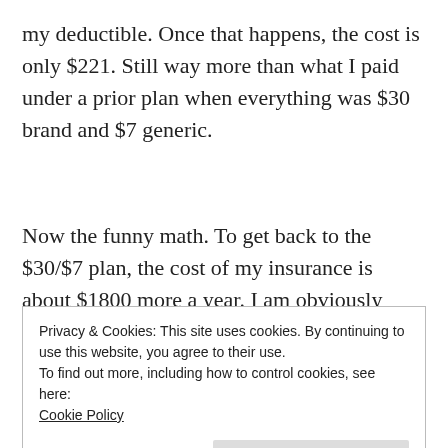my deductible. Once that happens, the cost is only $221. Still way more than what I paid under a prior plan when everything was $30 brand and $7 generic.
Now the funny math. To get back to the $30/$7 plan, the cost of my insurance is about $1800 more a year. I am obviously better off paying the $900 barring no additional medical bills. Then I remembered some sage
Privacy & Cookies: This site uses cookies. By continuing to use this website, you agree to their use.
To find out more, including how to control cookies, see here:
Cookie Policy
Close and accept